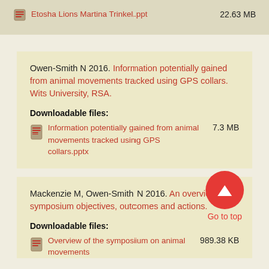Etosha Lions Martina Trinkel.ppt  22.63 MB
Owen-Smith N 2016. Information potentially gained from animal movements tracked using GPS collars. Wits University, RSA.
Downloadable files:
Information potentially gained from animal movements tracked using GPS collars.pptx  7.3 MB
Mackenzie M, Owen-Smith N 2016. An overview: symposium objectives, outcomes and actions.
Downloadable files:
Overview of the symposium on animal movements  989.38 KB
Go to top